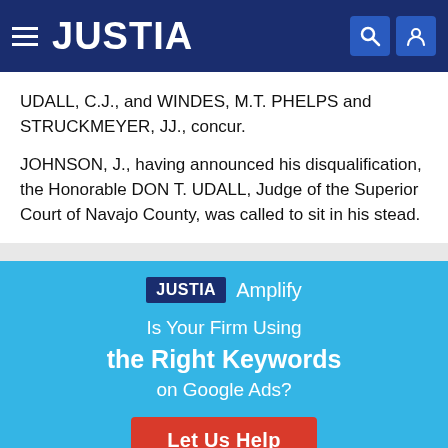JUSTIA
UDALL, C.J., and WINDES, M.T. PHELPS and STRUCKMEYER, JJ., concur.
JOHNSON, J., having announced his disqualification, the Honorable DON T. UDALL, Judge of the Superior Court of Navajo County, was called to sit in his stead.
[Figure (infographic): Justia Amplify advertisement banner with text: Is Your Firm Using the Right Keywords on Google Ads? Let Us Help button in red.]